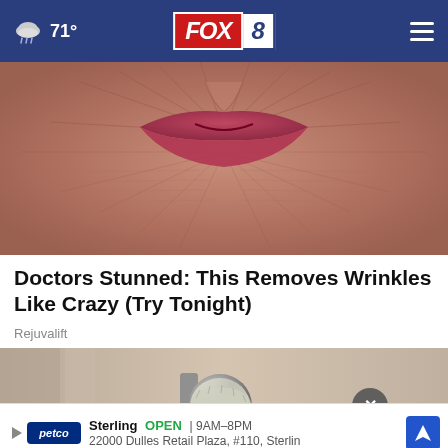FOX 8 — 71° weather
[Figure (photo): Close-up photo of an elderly person's wrinkled lips and mouth area]
Doctors Stunned: This Removes Wrinkles Like Crazy (Try Tonight)
Rejuvalift
[Figure (photo): Photo of a door knob wrapped in aluminum foil with a close button overlay]
Sterling OPEN | 9AM–8PM 22000 Dulles Retail Plaza, #110, Sterling